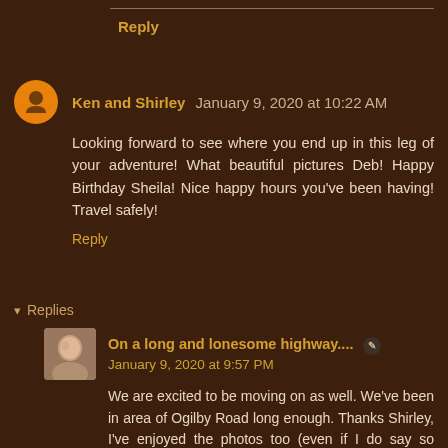Reply
Ken and Shirley  January 9, 2020 at 10:22 AM
Looking forward to see where you end up in this leg of your adventure! What beautiful pictures Deb! Happy Birthday Sheila! Nice happy hours you've been having! Travel safely!
Reply
Replies
On a long and lonesome highway....  January 9, 2020 at 9:57 PM
We are excited to be moving on as well. We've been in area of Ogilby Road long enough. Thanks Shirley, I've enjoyed the photos too (even if I do say so myself). We had some grand happy hours with Deb & Tom and Doug & Yuma. Always fun times.